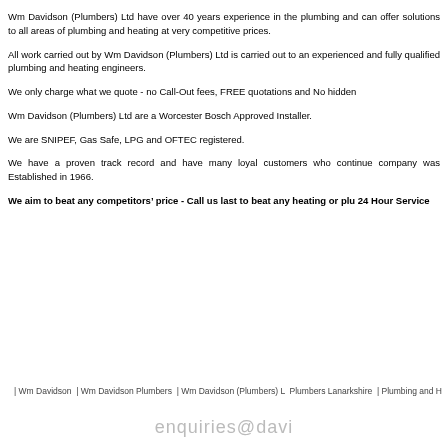Wm Davidson (Plumbers) Ltd have over 40 years experience in the plumbing and can offer solutions to all areas of plumbing and heating at very competitive prices.
All work carried out by Wm Davidson (Plumbers) Ltd is carried out to an experienced and fully qualified plumbing and heating engineers.
We only charge what we quote - no Call-Out fees, FREE quotations and No hidden
Wm Davidson (Plumbers) Ltd are a Worcester Bosch Approved Installer.
We are SNIPEF, Gas Safe, LPG and OFTEC registered.
We have a proven track record and have many loyal customers who continue company was Established in 1966.
We aim to beat any competitors’ price - Call us last to beat any heating or plu 24 Hour Service
| Wm Davidson | Wm Davidson Plumbers | Wm Davidson (Plumbers) L Plumbers Lanarkshire | Plumbing and H